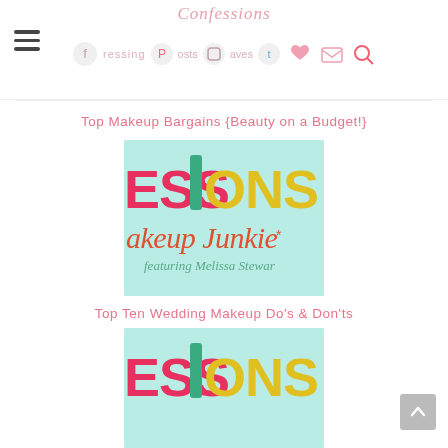Confessions of a Makeup Junkie - navigation bar with social icons
Top Makeup Bargains {Beauty on a Budget!}
[Figure (logo): Confessions of a Makeup Junkie logo on mint background featuring Melissa Stewart, partially cropped showing ESSIONS and 'akeup Junkie*']
Top Ten Wedding Makeup Do's & Don'ts
[Figure (logo): Confessions of a Makeup Junkie logo on mint background, second instance, partially cropped]